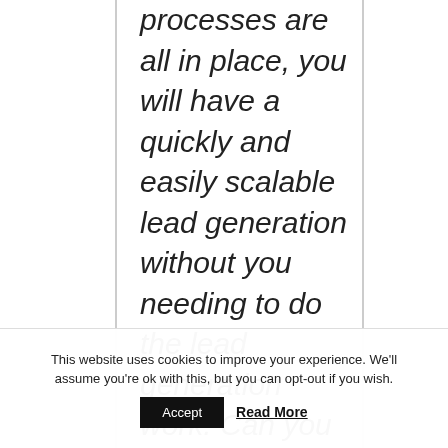processes are all in place, you will have a quickly and easily scalable lead generation without you needing to do the lead generation work. Can you imagine how will that be like?

If you'd like to find more about how to automate your lead generation, then visit 47funnelsecrets.com Thank
This website uses cookies to improve your experience. We'll assume you're ok with this, but you can opt-out if you wish. Accept Read More